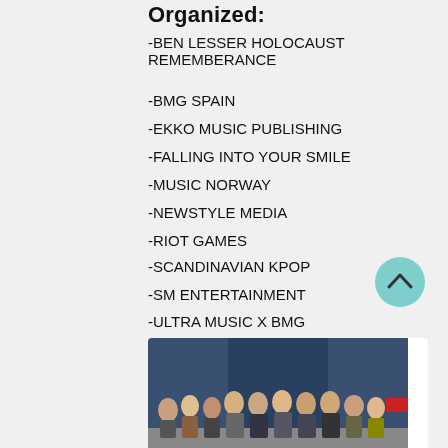Organized:
-BEN LESSER HOLOCAUST REMEMBERANCE
-BMG SPAIN
-EKKO MUSIC PUBLISHING
-FALLING INTO YOUR SMILE
-MUSIC NORWAY
-NEWSTYLE MEDIA
-RIOT GAMES
-SCANDINAVIAN KPOP
-SM ENTERTAINMENT
-ULTRA MUSIC X BMG
-WOMENS FOCUSED
[Figure (photo): Group photo of people standing in front of blue curtains]